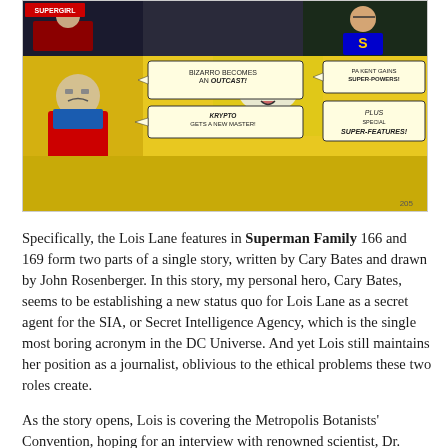[Figure (illustration): Comic book cover image showing Superman Family characters. Yellow background with comic panels: Bizarro becomes an Outcast!, Krypto gets a new master!, Pa Kent gains super-powers!, Plus special super-features! Characters include a dog, Superman, and other figures. Top left says Supergirl.]
Specifically, the Lois Lane features in Superman Family 166 and 169 form two parts of a single story, written by Cary Bates and drawn by John Rosenberger. In this story, my personal hero, Cary Bates, seems to be establishing a new status quo for Lois Lane as a secret agent for the SIA, or Secret Intelligence Agency, which is the single most boring acronym in the DC Universe. And yet Lois still maintains her position as a journalist, oblivious to the ethical problems these two roles create.
As the story opens, Lois is covering the Metropolis Botanists' Convention, hoping for an interview with renowned scientist, Dr. Foxley, who is surprisingly not a female character in a James Bond film. Before Lois can get any closer to the